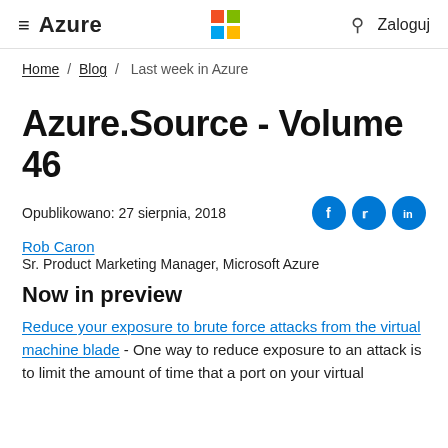≡  Azure   [Microsoft Logo]   🔍   Zaloguj
Home / Blog / Last week in Azure
Azure.Source - Volume 46
Opublikowano: 27 sierpnia, 2018
Rob Caron
Sr. Product Marketing Manager, Microsoft Azure
Now in preview
Reduce your exposure to brute force attacks from the virtual machine blade - One way to reduce exposure to an attack is to limit the amount of time that a port on your virtual